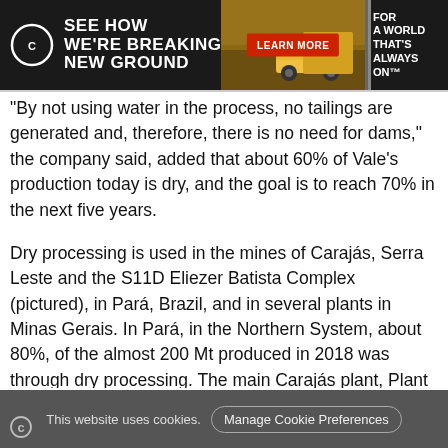[Figure (infographic): Cummins advertisement banner: dark background with Cummins logo, text 'SEE HOW WE'RE BREAKING NEW GROUND', a mining truck image, a red 'LEARN MORE' button, and the slogan 'FOR A WORLD THAT'S ALWAYS ON']
“By not using water in the process, no tailings are generated and, therefore, there is no need for dams,” the company said, added that about 60% of Vale’s production today is dry, and the goal is to reach 70% in the next five years.
Dry processing is used in the mines of Carajás, Serra Leste and the S11D Eliezer Batista Complex (pictured), in Pará, Brazil, and in several plants in Minas Gerais. In Pará, in the Northern System, about 80%, of the almost 200 Mt produced in 2018 was through dry processing. The main Carajás plant, Plant 1, is in the process of conversion to natural moisture: of the 17 plant processing lines, 11 are already dry and the remaining six wet lines will be
This website uses cookies.  Manage Cookie Preferences